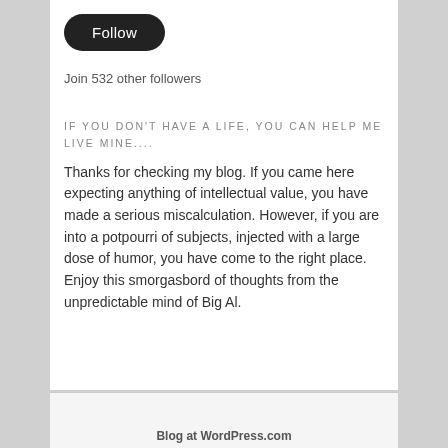[Figure (other): A rounded black Follow button with white text]
Join 532 other followers
IF YOU DON'T HAVE A LIFE, YOU CAN HELP ME LIVE MINE....
Thanks for checking my blog. If you came here expecting anything of intellectual value, you have made a serious miscalculation. However, if you are into a potpourri of subjects, injected with a large dose of humor, you have come to the right place. Enjoy this smorgasbord of thoughts from the unpredictable mind of Big Al.
Blog at WordPress.com